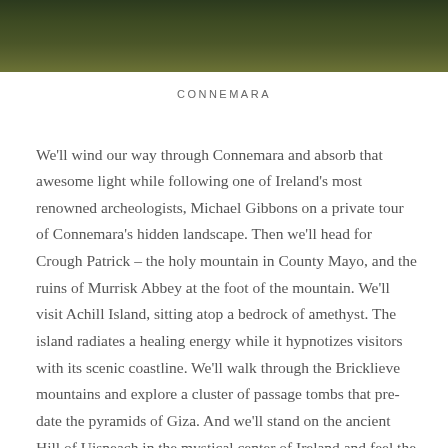[Figure (photo): Landscape photograph of green grassy hills or moorland in Connemara, Ireland, with dark tones and atmospheric lighting.]
CONNEMARA
We'll wind our way through Connemara and absorb that awesome light while following one of Ireland's most renowned archeologists, Michael Gibbons on a private tour of Connemara's hidden landscape. Then we'll head for Crough Patrick – the holy mountain in County Mayo, and the ruins of Murrisk Abbey at the foot of the mountain. We'll visit Achill Island, sitting atop a bedrock of amethyst. The island radiates a healing energy while it hypnotizes visitors with its scenic coastline. We'll walk through the Bricklieve mountains and explore a cluster of passage tombs that pre-date the pyramids of Giza. And we'll stand on the ancient Hill of Uisneach in the mystical center of Ireland and feel the pull of the magnetic energy there.